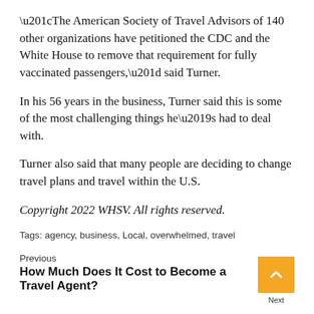“The American Society of Travel Advisors of 140 other organizations have petitioned the CDC and the White House to remove that requirement for fully vaccinated passengers,” said Turner.
In his 56 years in the business, Turner said this is some of the most challenging things he’s had to deal with.
Turner also said that many people are deciding to change travel plans and travel within the U.S.
Copyright 2022 WHSV. All rights reserved.
Tags: agency, business, Local, overwhelmed, travel
Previous
How Much Does It Cost to Become a Travel Agent?
Next